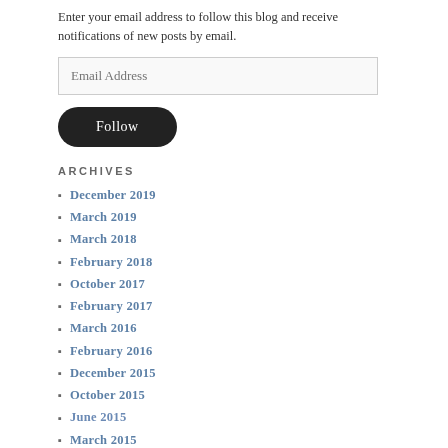Enter your email address to follow this blog and receive notifications of new posts by email.
[Figure (other): Email address input field with placeholder text 'Email Address']
[Figure (other): Follow button, dark rounded pill shape with white text 'Follow']
ARCHIVES
December 2019
March 2019
March 2018
February 2018
October 2017
February 2017
March 2016
February 2016
December 2015
October 2015
June 2015
March 2015